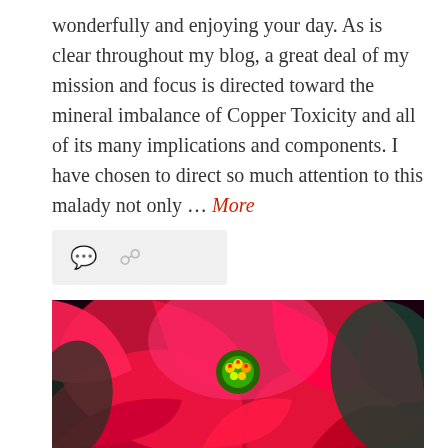wonderfully and enjoying your day. As is clear throughout my blog, a great deal of my mission and focus is directed toward the mineral imbalance of Copper Toxicity and all of its many implications and components. I have chosen to direct so much attention to this malady not only … More
[Figure (photo): Icon bar with comment bubble and share/link icons on a light gray background]
[Figure (photo): Close-up photograph of bright red and pink poinsettia flowers with green center buds and dark green/teal leaves in the background]